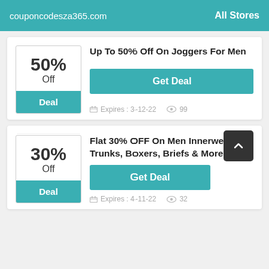couponcodesza365.com   All Stores
50% Off
Deal
Up To 50% Off On Joggers For Men
Get Deal
Expires : 3-12-22   99
30% Off
Deal
Flat 30% OFF On Men Innerwear Trunks, Boxers, Briefs & More
Get Deal
Expires : 4-11-22   32